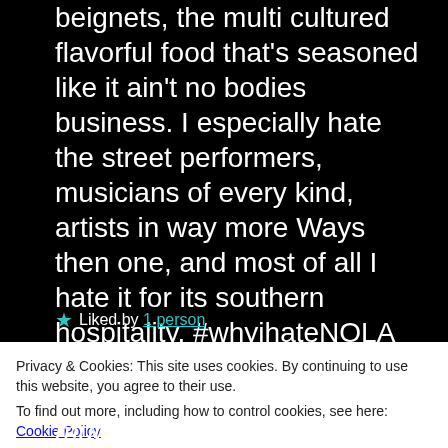beignets, the multi cultured flavorful food that's seasoned like it ain't no bodies business. I especially hate the street performers, musicians of every kind, artists in way more Ways then one, and most of all I hate it for its southern hospitality. #whyihateNOLA
★ Liked by 1 person
Privacy & Cookies: This site uses cookies. By continuing to use this website, you agree to their use.
To find out more, including how to control cookies, see here: Cookie Policy
Close and accept
much that I am seeking my